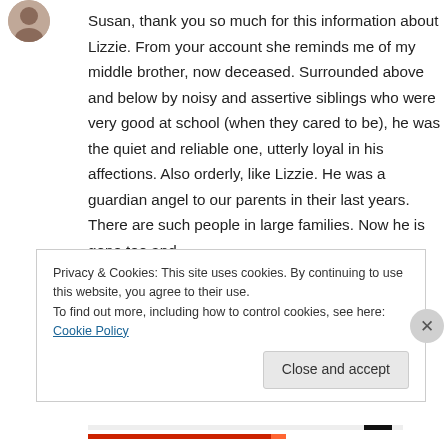[Figure (photo): Small circular profile photo of a person in upper left corner]
Susan, thank you so much for this information about Lizzie. From your account she reminds me of my middle brother, now deceased. Surrounded above and below by noisy and assertive siblings who were very good at school (when they cared to be), he was the quiet and reliable one, utterly loyal in his affections. Also orderly, like Lizzie. He was a guardian angel to our parents in their last years. There are such people in large families. Now he is gone too and
Privacy & Cookies: This site uses cookies. By continuing to use this website, you agree to their use.
To find out more, including how to control cookies, see here: Cookie Policy
Close and accept